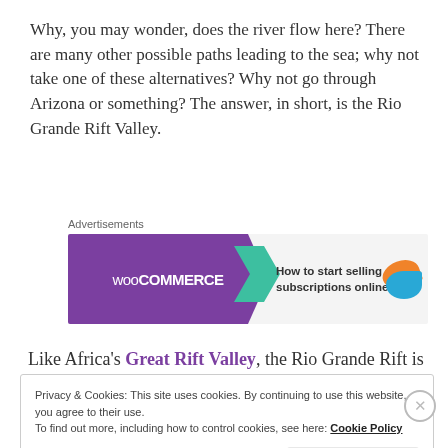Why, you may wonder, does the river flow here? There are many other possible paths leading to the sea; why not take one of these alternatives? Why not go through Arizona or something? The answer, in short, is the Rio Grande Rift Valley.
Advertisements
[Figure (other): WooCommerce advertisement banner: purple background with WooCommerce logo on left, teal arrow pointing right, text 'How to start selling subscriptions online', decorative orange and blue shapes on right]
Like Africa's Great Rift Valley, the Rio Grande Rift is
Privacy & Cookies: This site uses cookies. By continuing to use this website, you agree to their use. To find out more, including how to control cookies, see here: Cookie Policy
Advertisements